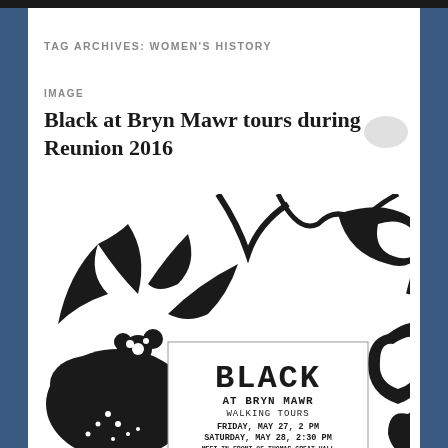TAG ARCHIVES: WOMEN'S HISTORY
IMAGE
Black at Bryn Mawr tours during Reunion 2016
[Figure (photo): Black and white decorative floral/paisley pattern background with an event flyer overlay reading: BLACK AT BRYN MAWR WALKING TOURS, FRIDAY, MAY 27, 2 PM, SATURDAY, MAY 28, 2:30 PM, MEET IN FRONT OF THOMAS GREAT HALL, Rain or shine! Please wear sensible shoes.]